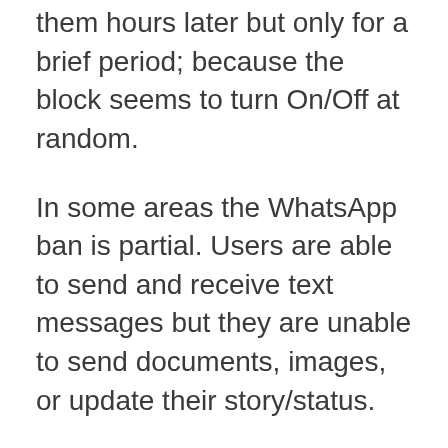them hours later but only for a brief period; because the block seems to turn On/Off at random.
In some areas the WhatsApp ban is partial. Users are able to send and receive text messages but they are unable to send documents, images, or update their story/status.